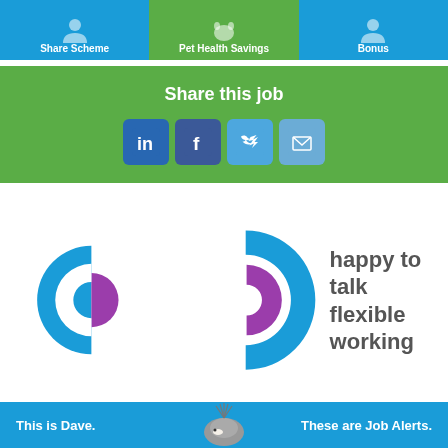[Figure (infographic): Top bar with three benefit icons: Share Scheme (blue), Pet Health Savings (green), Bonus (blue). Each has a silhouette icon above the label text in white.]
[Figure (infographic): Green banner with 'Share this job' heading and four social media icon buttons: LinkedIn, Facebook, Twitter, Email.]
Share this job
[Figure (logo): Happy to talk flexible working logo — circular blue and purple segmented icon next to bold grey text 'happy to talk flexible working']
[Figure (infographic): Bottom blue bar with text 'This is Dave.' on the left, a hedgehog image in the center, and 'These are Job Alerts.' on the right.]